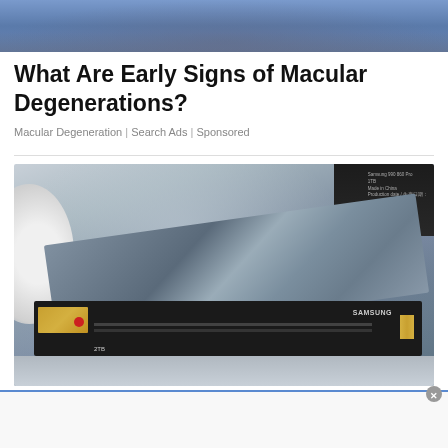[Figure (photo): Partial view of a person wearing a blue shirt or jacket, cropped at the top of the page]
What Are Early Signs of Macular Degenerations?
Macular Degeneration | Search Ads | Sponsored
[Figure (photo): A Samsung SSD M.2 NVMe drive (2TB) placed on a patterned surface next to a Samsung product box. The SSD has a metallic heat shield partially covering it. A white ceramic bowl or plate edge is visible on the left.]
[Figure (photo): Advertisement banner at the bottom of the page, partially visible, with a close button (X) on the right side]